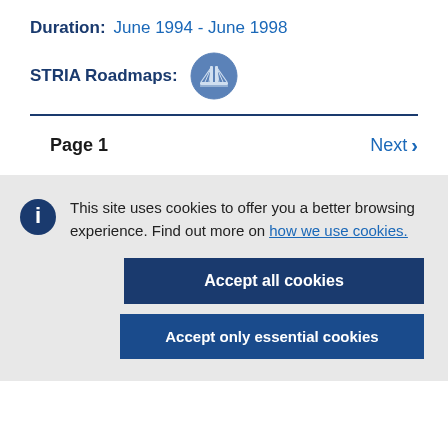Duration: June 1994 - June 1998
STRIA Roadmaps:
[Figure (logo): STRIA Roadmaps circular icon with bridge/infrastructure graphic in blue]
Page 1
Next >
This site uses cookies to offer you a better browsing experience. Find out more on how we use cookies.
Accept all cookies
Accept only essential cookies